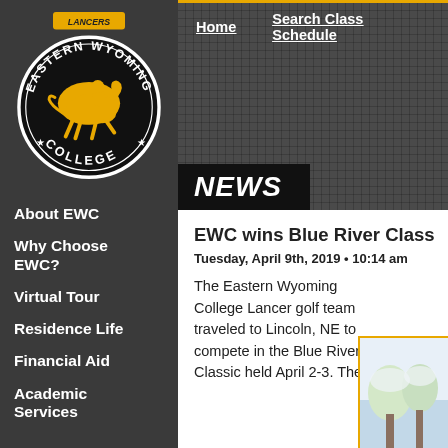[Figure (logo): Eastern Wyoming College Lancers circular logo with gold horse and rider on black background]
About EWC
Why Choose EWC?
Virtual Tour
Residence Life
Financial Aid
Academic Services
Home    Search Class Schedule
NEWS
EWC wins Blue River Class
Tuesday, April 9th, 2019 • 10:14 am
The Eastern Wyoming College Lancer golf team traveled to Lincoln, NE to compete in the Blue River Classic held April 2-3. There
[Figure (photo): Partial photo visible at bottom right, appears to show outdoor winter/spring scene]